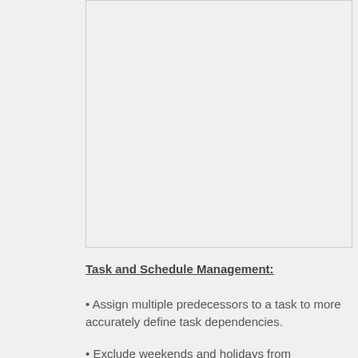[Figure (other): A gray empty image placeholder box]
Task and Schedule Management:
Assign multiple predecessors to a task to more accurately define task dependencies.
Exclude weekends and holidays from